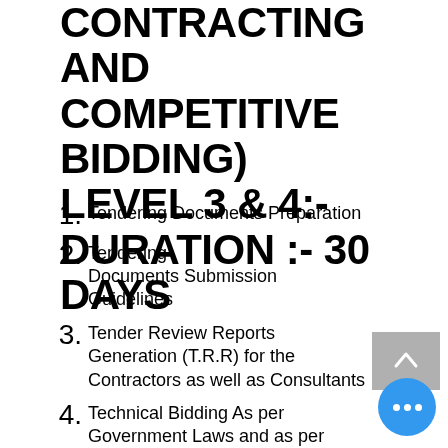CONTRACTING AND COMPETITIVE BIDDING) LEVEL 3 & 4:- DURATION :- 30 DAYS
Tendering Documents Preparation
Tendering Documents Submission Guidelines
Tender Review Reports Generation (T.R.R) for the Contractors as well as Consultants
Technical Bidding As per Government Laws and as per BHADANI'S Technique
Financial Bidding As per Government Laws and as per